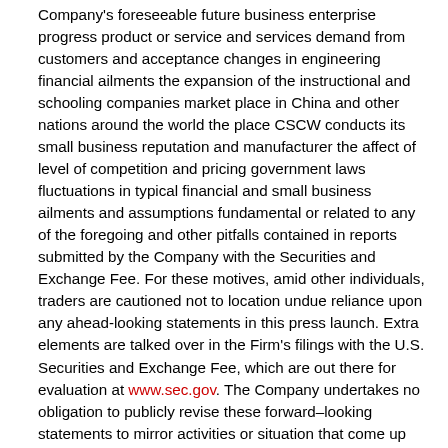Company's foreseeable future business enterprise progress product or service and services demand from customers and acceptance changes in engineering financial ailments the expansion of the instructional and schooling companies market place in China and other nations around the world the place CSCW conducts its small business reputation and manufacturer the affect of level of competition and pricing government laws fluctuations in typical financial and small business ailments and assumptions fundamental or related to any of the foregoing and other pitfalls contained in reports submitted by the Company with the Securities and Exchange Fee. For these motives, amid other individuals, traders are cautioned not to location undue reliance upon any ahead-looking statements in this press launch. Extra elements are talked over in the Firm's filings with the U.S. Securities and Exchange Fee, which are out there for evaluation at www.sec.gov. The Company undertakes no obligation to publicly revise these forward–looking statements to mirror activities or situation that come up right after the day hereof unless of course required by applicable legal guidelines, regulations or regulations.